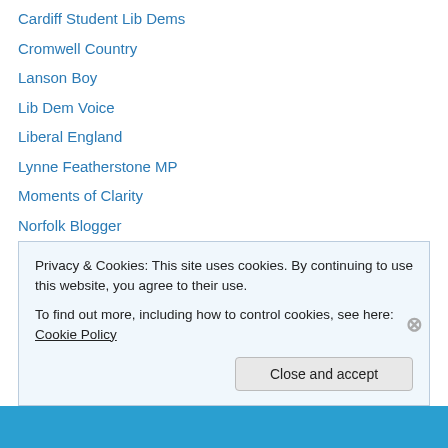Cardiff Student Lib Dems
Cromwell Country
Lanson Boy
Lib Dem Voice
Liberal England
Lynne Featherstone MP
Moments of Clarity
Norfolk Blogger
Steve Webb MP
Me
Twitter: @Presidentjamie
Privacy & Cookies: This site uses cookies. By continuing to use this website, you agree to their use.
To find out more, including how to control cookies, see here: Cookie Policy
Close and accept